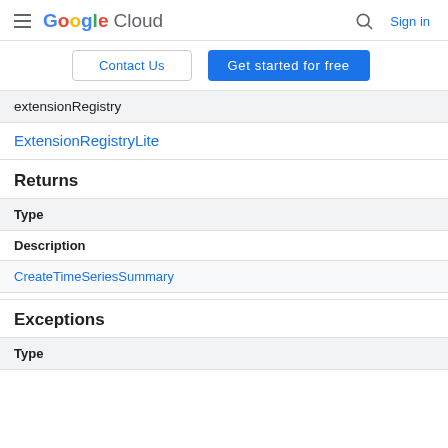Google Cloud — Sign in
Contact Us | Get started for free
extensionRegistry
ExtensionRegistryLite
Returns
| Type | Description |
| --- | --- |
| CreateTimeSeriesSummary |  |
Exceptions
| Type |
| --- |